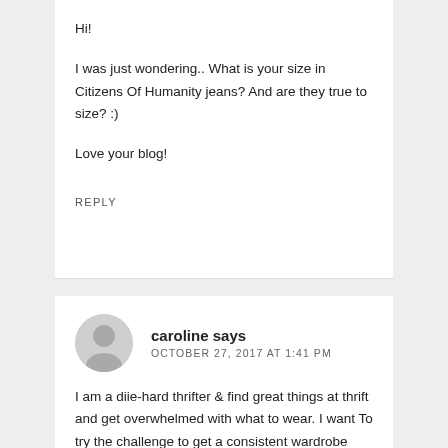Hi!

I was just wondering.. What is your size in Citizens Of Humanity jeans? And are they true to size? :)

Love your blog!
REPLY
caroline says
OCTOBER 27, 2017 AT 1:41 PM
I am a diie-hard thrifter & find great things at thrift and get overwhelmed with what to wear. I want To try the challenge to get a consistent wardrobe that I know and love and that will work (comfort style) for